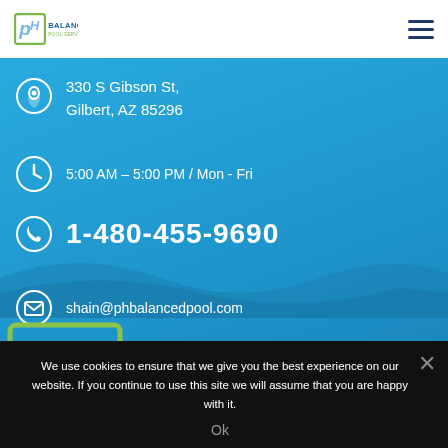Balanced Pool Service LLC - Header navigation with logo and hamburger menu
330 S Gibson St, Gilbert, AZ 85296
5:00 AM – 5:00 PM / Mon - Fri
1-480-455-9690
shain@phbalancedpool.com
[Figure (logo): PH Balanced Pool Service LLC large logo on blue background]
We use cookies to ensure that we give you the best experience on our website. If you continue to use this site we will assume that you are happy with it.
Ok